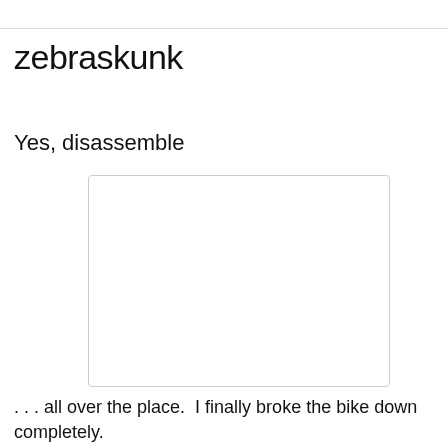zebraskunk
Yes, disassemble
[Figure (other): White/blank rectangular image placeholder with light gray border]
. . . all over the place.  I finally broke the bike down completely.